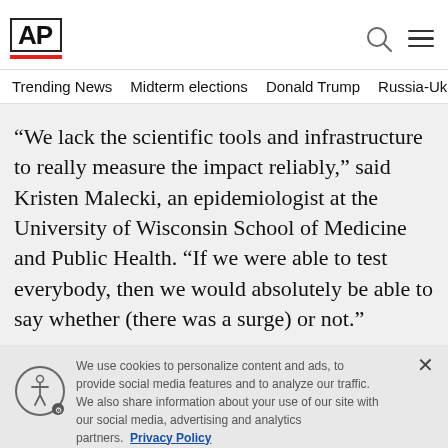AP
Trending News   Midterm elections   Donald Trump   Russia-Ukr
“We lack the scientific tools and infrastructure to really measure the impact reliably,” said Kristen Malecki, an epidemiologist at the University of Wisconsin School of Medicine and Public Health. “If we were able to test everybody, then we would absolutely be able to say whether (there was a surge) or not.”
We use cookies to personalize content and ads, to provide social media features and to analyze our traffic. We also share information about your use of our site with our social media, advertising and analytics partners. Privacy Policy
Cookies Settings   Accept All Cookies